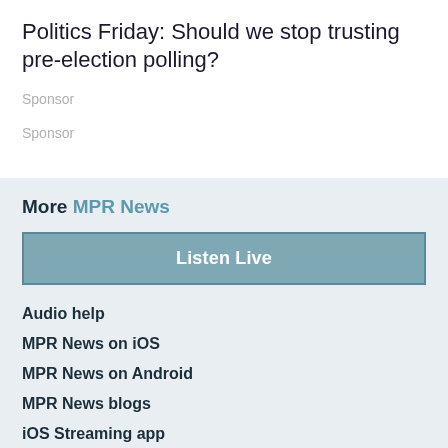Politics Friday: Should we stop trusting pre-election polling?
Sponsor
Sponsor
More MPR News
Listen Live
Audio help
MPR News on iOS
MPR News on Android
MPR News blogs
iOS Streaming app
Android Streaming app